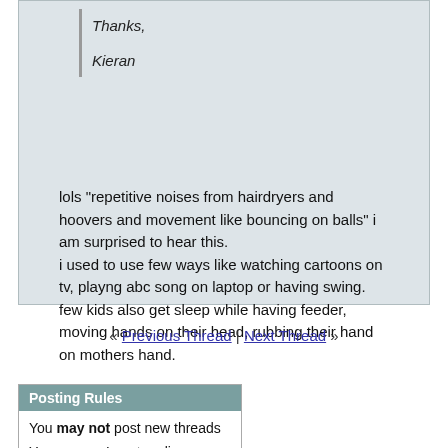Thanks,

Kieran
lols "repetitive noises from hairdryers and hoovers and movement like bouncing on balls" i am surprised to hear this.
i used to use few ways like watching cartoons on tv, playng abc song on laptop or having swing. few kids also get sleep while having feeder, moving hands on their head, rubbing their hand on mothers hand.
« Previous Thread | Next Thread »
Posting Rules
You may not post new threads
You may not post replies
You may not post attachments
You may not edit your posts